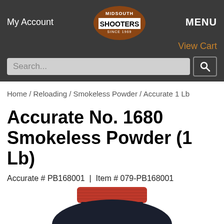MIDSOUTH SHOOTERS SINCE 1969 | MENU | My Account | View Cart
Search...
Home / Reloading / Smokeless Powder / Accurate 1 Lb
Accurate No. 1680 Smokeless Powder (1 Lb)
Accurate # PB168001 |  Item # 079-PB168001
[Figure (photo): Top portion of a dark navy/black powder canister with a red ribbed screw cap lid, showing the shoulder and cap of the Accurate No. 1680 Smokeless Powder container.]